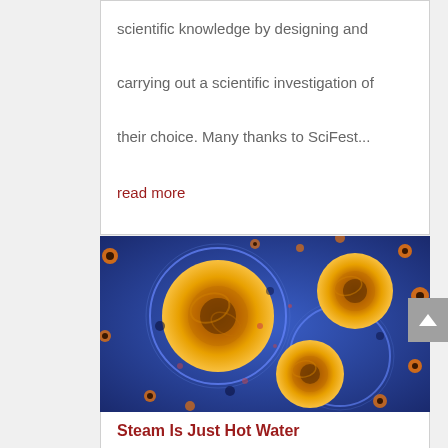scientific knowledge by designing and carrying out a scientific investigation of their choice. Many thanks to SciFest...
read more
[Figure (photo): Close-up microscopic image of orange and yellow cell-like structures with dark centers surrounded by blue fluid, with smaller orange dots scattered throughout the background.]
Steam Is Just Hot Water